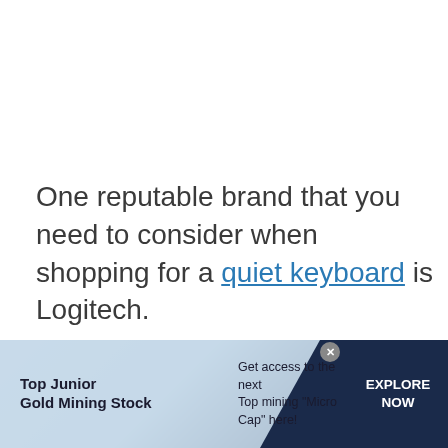One reputable brand that you need to consider when shopping for a quiet keyboard is Logitech.
Logitech does not need any
[Figure (other): Advertisement banner for Top Junior Gold Mining Stock. Left section shows bold text 'Top Junior Gold Mining Stock' on a light blue diagonal background. Middle section shows text 'Get access to the next Top mining "Micro Cap" here!' on a light blue background. Right section is a dark navy blue box with white bold text 'EXPLORE NOW'. A small circular close button (x) appears at the top right of the banner.]